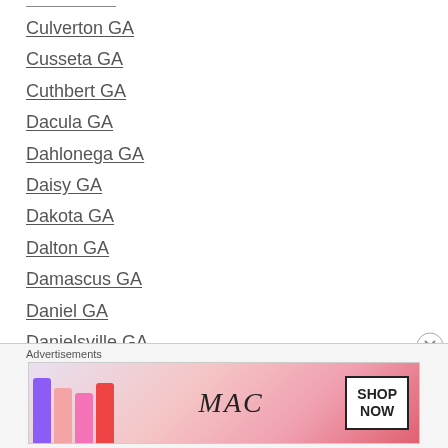Culverton GA
Cusseta GA
Cuthbert GA
Dacula GA
Dahlonega GA
Daisy GA
Dakota GA
Dalton GA
Damascus GA
Daniel GA
Danielsville GA
Danville GA
Darien GA
Dasher GA
Davisboro GA
Advertisements
[Figure (other): MAC Cosmetics advertisement banner showing lipsticks and SHOP NOW button]